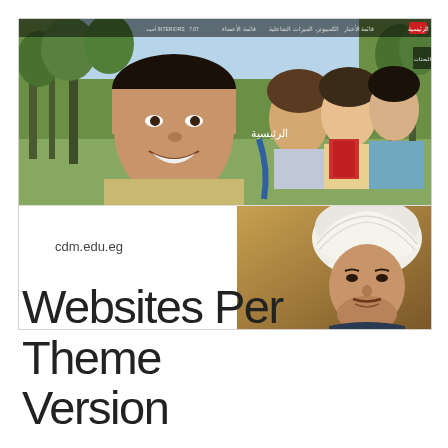[Figure (screenshot): Screenshot of cdm.edu.eg website showing a university website with a hero banner featuring students outdoors, Arabic navigation bar at top, and a portrait image (man with white turban) in the bottom right section.]
cdm.edu.eg
Websites Per Theme Version